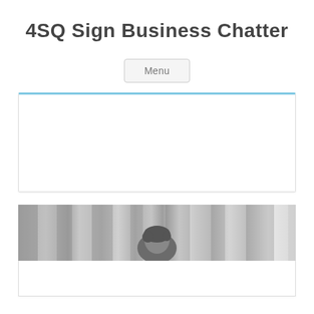4SQ Sign Business Chatter
[Figure (screenshot): Menu button UI element]
[Figure (other): Empty content box with blue top border]
[Figure (photo): Partial photo of a person against a striped/textured background, showing top of head with dark hair, with a white content box below]